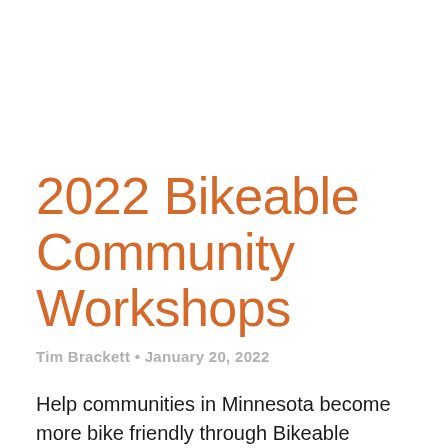2022 Bikeable Community Workshops
Tim Brackett • January 20, 2022
Help communities in Minnesota become more bike friendly through Bikeable Community Workshops. Learn ways to advocate for biking in your